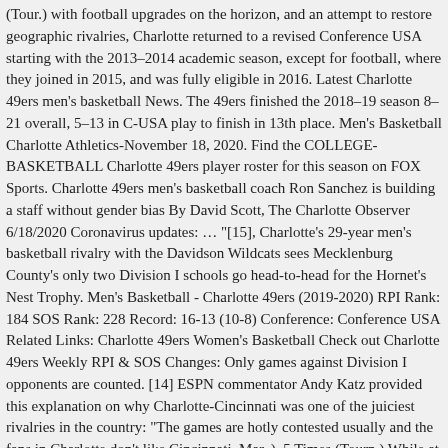(Tour.) with football upgrades on the horizon, and an attempt to restore geographic rivalries, Charlotte returned to a revised Conference USA starting with the 2013–2014 academic season, except for football, where they joined in 2015, and was fully eligible in 2016. Latest Charlotte 49ers men's basketball News. The 49ers finished the 2018–19 season 8–21 overall, 5–13 in C-USA play to finish in 13th place. Men's Basketball Charlotte Athletics-November 18, 2020. Find the COLLEGE-BASKETBALL Charlotte 49ers player roster for this season on FOX Sports. Charlotte 49ers men's basketball coach Ron Sanchez is building a staff without gender bias By David Scott, The Charlotte Observer 6/18/2020 Coronavirus updates: … "[15], Charlotte's 29-year men's basketball rivalry with the Davidson Wildcats sees Mecklenburg County's only two Division I schools go head-to-head for the Hornet's Nest Trophy. Men's Basketball - Charlotte 49ers (2019-2020) RPI Rank: 184 SOS Rank: 228 Record: 16-13 (10-8) Conference: Conference USA Related Links: Charlotte 49ers Women's Basketball Check out Charlotte 49ers Weekly RPI & SOS Changes: Only games against Division I opponents are counted. [14] ESPN commentator Andy Katz provided this explanation on why Charlotte-Cincinnati was one of the juiciest rivalries in the country: "The games are hotly contested usually and the fans in Charlotte don't like Cincinnati. Mar. ), 5 Times (Tourn.) While at UNC Charlotte (2003-2007) she became a four time All American, placing 4th at multiple NCAA Championships, and breaking 12 school records. It's harder to make a name for yourself, when your name keeps getting confused. Holly Clark was hired to be the program's first coach. Visit the official Charlotte 49ers Team Store for men's, women's and children's apparel, gifts, tailgate accessories, and more for the alumni and the fan. This led to the creation of a 'buffer zone' being implemented behind the visiting team's bench. 1-800-918-2612. Ultimate guide to the Charlotte 49ers basketball season. 4,866 Followers, 109 Following, 1,447 Posts - See Instagram photos and videos from Charlotte Basketball (@49ersbasketball) The 2019–20 Charlotte 49ers men's basketball team represent the University of North Carolina at Charlotte in the 2019–20 NCAA Division I...